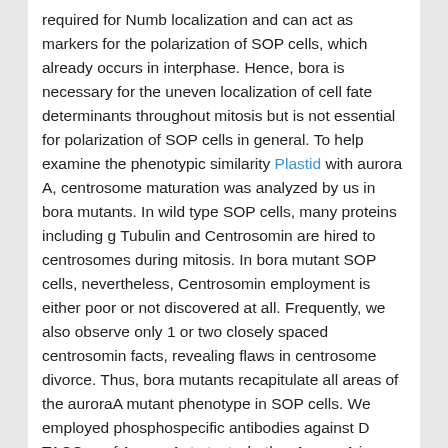required for Numb localization and can act as markers for the polarization of SOP cells, which already occurs in interphase. Hence, bora is necessary for the uneven localization of cell fate determinants throughout mitosis but is not essential for polarization of SOP cells in general. To help examine the phenotypic similarity Plastid with aurora A, centrosome maturation was analyzed by us in bora mutants. In wild type SOP cells, many proteins including g Tubulin and Centrosomin are hired to centrosomes during mitosis. In bora mutant SOP cells, nevertheless, Centrosomin employment is either poor or not discovered at all. Frequently, we also observe only 1 or two closely spaced centrosomin facts, revealing flaws in centrosome divorce. Thus, bora mutants recapitulate all areas of the auroraA mutant phenotype in SOP cells. We employed phosphospecific antibodies against D TACC, a of Aurora A, to test whether Aurora A is effective in bora mutants. In wild type cells, phosphorylated N TACC is located at centrosomes and on the mitotic spindle. In both aurA37 and bora mutants, nevertheless, R D TACC staining is notably reduced and maybe not enriched on